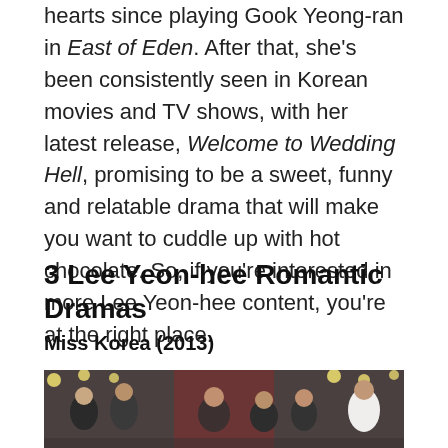hearts since playing Gook Yeong-ran in East of Eden. After that, she's been consistently seen in Korean movies and TV shows, with her latest release, Welcome to Wedding Hell, promising to be a sweet, funny and relatable drama that will make you want to cuddle up with hot chocolate. So, if you're interested in more Lee Yeon-hee content, you're at the right place.
3 Lee Yeon-hee Romantic Dramas
Miss Korea (2013)
[Figure (photo): Cast photo of Miss Korea (2013) Korean drama, showing multiple cast members in formal attire on a stage with lights in the background.]